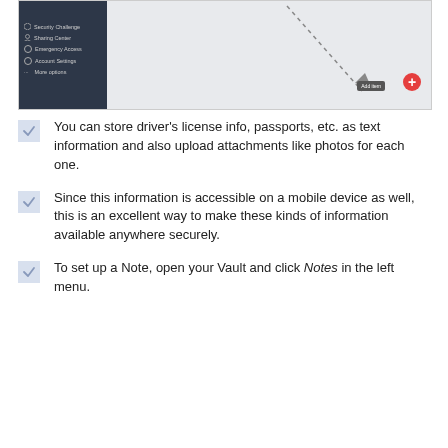[Figure (screenshot): Screenshot of a password manager vault interface showing a dark sidebar with menu items (Security Challenge, Sharing Center, Emergency Access, Account Settings, More options) and a main area with a dotted arrow pointing to an 'Add item' button and a red plus button.]
You can store driver’s license info, passports, etc. as text information and also upload attachments like photos for each one.
Since this information is accessible on a mobile device as well, this is an excellent way to make these kinds of information available anywhere securely.
To set up a Note, open your Vault and click Notes in the left menu.